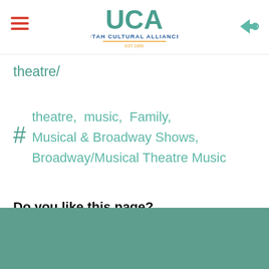[Figure (logo): Utah Cultural Alliance (UCA) logo with green harp/pen icon and text 'UTAH CULTURAL ALLIANCE EST 1993']
theatre/
# theatre, music, Family, Musical & Broadway Shows, Broadway/Musical Theatre Music
Do you like this page?
Like  Sign Up to see what your friends like.  Tweet